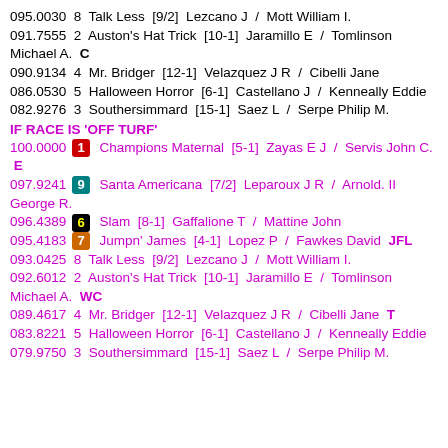095.0030  8  Talk Less  [9/2]  Lezcano J  /  Mott William I.
091.7555  2  Auston's Hat Trick  [10-1]  Jaramillo E  /  Tomlinson Michael A.  C
090.9134  4  Mr. Bridger  [12-1]  Velazquez J R  /  Cibelli Jane
086.0530  5  Halloween Horror  [6-1]  Castellano J  /  Kenneally Eddie
082.9276  3  Southersimmard  [15-1]  Saez L  /  Serpe Philip M.
IF RACE IS 'OFF TURF'
100.0000  1  Champions Maternal  [5-1]  Zayas E J  /  Servis John C.  E
097.9241  9  Santa Americana  [7/2]  Leparoux J R  /  Arnold. II George R.
096.4389  6  Slam  [8-1]  Gaffalione T  /  Mattine John
095.4183  7  Jumpn' James  [4-1]  Lopez P  /  Fawkes David  JFL
093.0425  8  Talk Less  [9/2]  Lezcano J  /  Mott William I.
092.6012  2  Auston's Hat Trick  [10-1]  Jaramillo E  /  Tomlinson Michael A.  WC
089.4617  4  Mr. Bridger  [12-1]  Velazquez J R  /  Cibelli Jane  T
083.8221  5  Halloween Horror  [6-1]  Castellano J  /  Kenneally Eddie
079.9750  3  Southersimmard  [15-1]  Saez L  /  Serpe Philip M.